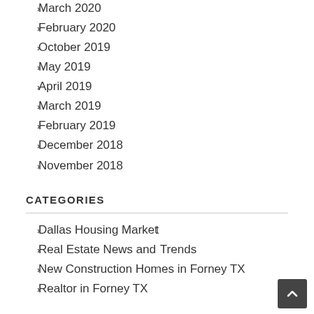March 2020
February 2020
October 2019
May 2019
April 2019
March 2019
February 2019
December 2018
November 2018
CATEGORIES
Dallas Housing Market
Real Estate News and Trends
New Construction Homes in Forney TX
Realtor in Forney TX